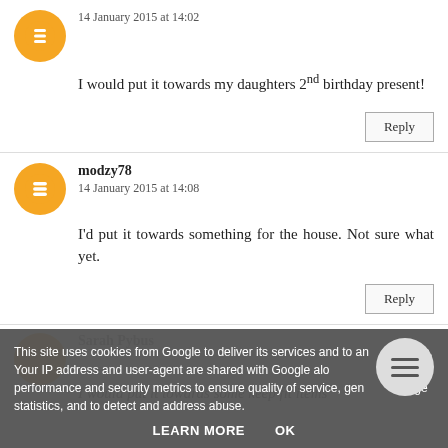14 January 2015 at 14:02
I would put it towards my daughters 2nd birthday present!
Reply
modzy78
14 January 2015 at 14:08
I'd put it towards something for the house. Not sure what yet.
Reply
Sarah Pybus
I would put it towards some keep fit items
This site uses cookies from Google to deliver its services and to analyse traffic. Your IP address and user-agent are shared with Google along with performance and security metrics to ensure quality of service, generate usage statistics, and to detect and address abuse.
LEARN MORE
OK